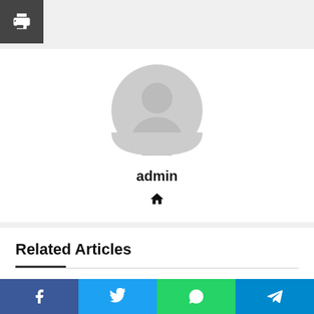[Figure (illustration): Print button icon — dark grey square with a printer icon (white)]
[Figure (illustration): Default user avatar — circular grey silhouette of a person]
admin
[Figure (illustration): Home icon — small house icon]
Related Articles
T-Mobile is reportedly adding